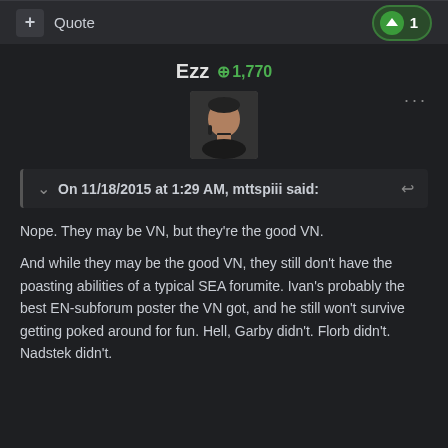+ Quote  ↑ 1
Ezz  +1,770
On 11/18/2015 at 1:29 AM, mttspiii said:
Nope. They may be VN, but they're the good VN.
And while they may be the good VN, they still don't have the poasting abilities of a typical SEA forumite. Ivan's probably the best EN-subforum poster the VN got, and he still won't survive getting poked around for fun. Hell, Garby didn't. Florb didn't. Nadstek didn't.